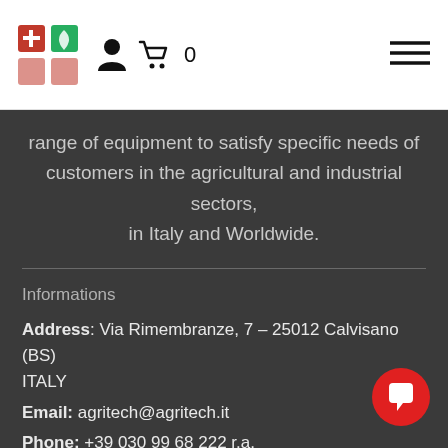Agritech logo, user icon, cart icon (0), hamburger menu
range of equipment to satisfy specific needs of customers in the agricultural and industrial sectors, in Italy and Worldwide.
Informations
Address: Via Rimembranze, 7 – 25012 Calvisano (BS) ITALY
Email: agritech@agritech.it
Phone: +39 030 99 68 222 r.a.
Fax: +39 03099 68 444